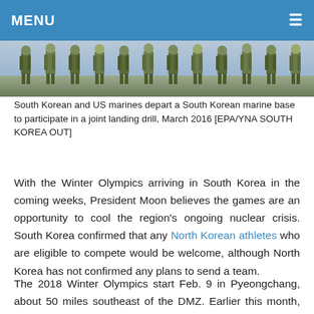MENU
[Figure (photo): South Korean and US marines in camouflage uniforms departing a South Korean marine base]
South Korean and US marines depart a South Korean marine base to participate in a joint landing drill, March 2016 [EPA/YNA SOUTH KOREA OUT]
With the Winter Olympics arriving in South Korea in the coming weeks, President Moon believes the games are an opportunity to cool the region's ongoing nuclear crisis. South Korea confirmed that any North Korean athletes who are eligible to compete would be welcome, although North Korea has not confirmed any plans to send a team.
The 2018 Winter Olympics start Feb. 9 in Pyeongchang, about 50 miles southeast of the DMZ. Earlier this month, South Korea security forces conducted a series of anti-terror drills to prepare against potential attacks, ranging from hostage situations to chemical and drone...